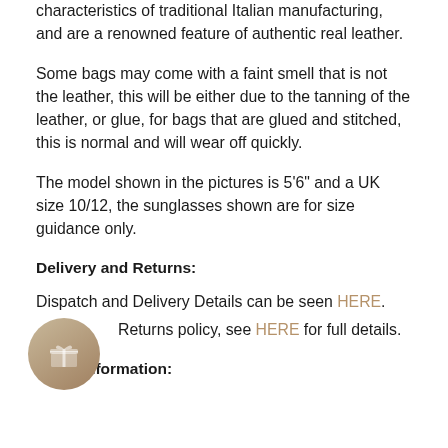characteristics of traditional Italian manufacturing, and are a renowned feature of authentic real leather.
Some bags may come with a faint smell that is not the leather, this will be either due to the tanning of the leather, or glue, for bags that are glued and stitched, this is normal and will wear off quickly.
The model shown in the pictures is 5'6" and a UK size 10/12, the sunglasses shown are for size guidance only.
Delivery and Returns:
Dispatch and Delivery Details can be seen HERE.
3  Returns policy, see HERE for full details.
Other Information: